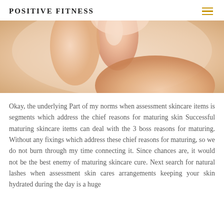POSITIVE FITNESS
[Figure (photo): Close-up photo of a woman's neck and shoulder, skin care themed image with soft lighting and peach/neutral tones]
Okay, the underlying Part of my norms when assessment skincare items is segments which address the chief reasons for maturing skin Successful maturing skincare items can deal with the 3 boss reasons for maturing. Without any fixings which address these chief reasons for maturing, so we do not burn through my time connecting it. Since chances are, it would not be the best enemy of maturing skincare cure. Next search for natural lashes when assessment skin cares arrangements keeping your skin hydrated during the day is a huge